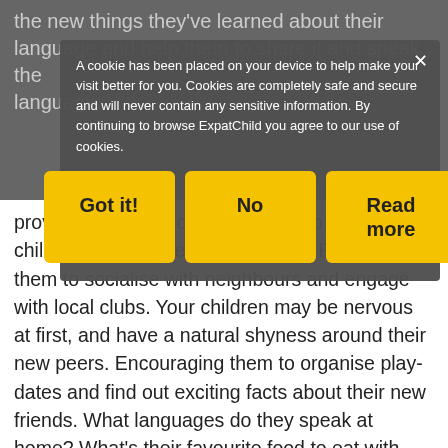the new things they've learned about their language and help them to share it and speak the language.
A cookie has been placed on your device to help make your visit better for you. Cookies are completely safe and secure and will never contain any sensitive information. By continuing to browse ExpatChild you agree to our use of cookies.
Expats... trying to... not prove the critics wrong and bring up your children to integrate in the culture? Encourage them to socialise with neighbours and engage with local clubs. Your children may be nervous at first, and have a natural shyness around their new peers. Encouraging them to organise play-dates and find out exciting facts about their new friends. What languages do they speak at home? What's their favourite food to eat with their parents? Your support will mean